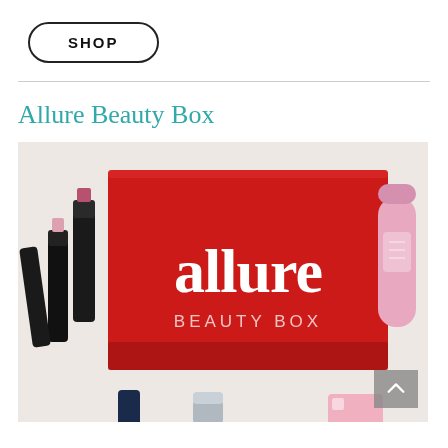SHOP
Allure Beauty Box
[Figure (photo): Photo of the Allure Beauty Box — a red rectangular box with the word 'allure' in large white text and 'BEAUTY BOX' beneath it, surrounded by beauty products including lipsticks and a pink skincare tube on a white background.]